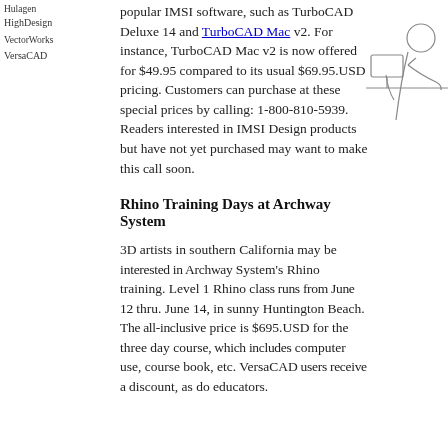HighDesign
VectorWorks
VersaCAD
popular IMSI software, such as TurboCAD Deluxe 14 and TurboCAD Mac v2. For instance, TurboCAD Mac v2 is now offered for $49.95 compared to its usual $69.95.USD pricing. Customers can purchase at these special prices by calling: 1-800-810-5939. Readers interested in IMSI Design products but have not yet purchased may want to make this call soon.
[Figure (illustration): Line drawing illustration of a person at a computer workstation, shown from a side/back angle]
Rhino Training Days at Archway System
3D artists in southern California may be interested in Archway System's Rhino training. Level 1 Rhino class runs from June 12 thru. June 14, in sunny Huntington Beach. The all-inclusive price is $695.USD for the three day course, which includes computer use, course book, etc. VersaCAD users receive a discount, as do educators.